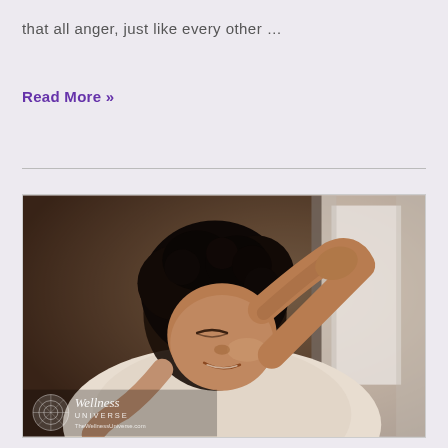that all anger, just like every other ...
Read More »
[Figure (photo): A Black woman with curly hair, eyes closed, smiling peacefully with hands behind her head, near a window with soft light. The Wellness Universe watermark is visible in the lower left corner.]